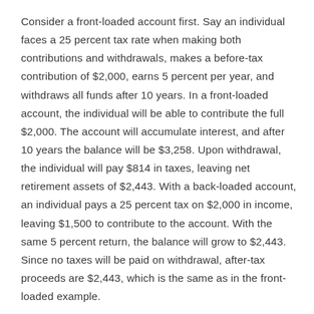Consider a front-loaded account first. Say an individual faces a 25 percent tax rate when making both contributions and withdrawals, makes a before-tax contribution of $2,000, earns 5 percent per year, and withdraws all funds after 10 years. In a front-loaded account, the individual will be able to contribute the full $2,000. The account will accumulate interest, and after 10 years the balance will be $3,258. Upon withdrawal, the individual will pay $814 in taxes, leaving net retirement assets of $2,443. With a back-loaded account, an individual pays a 25 percent tax on $2,000 in income, leaving $1,500 to contribute to the account. With the same 5 percent return, the balance will grow to $2,443. Since no taxes will be paid on withdrawal, after-tax proceeds are $2,443, which is the same as in the front-loaded example.